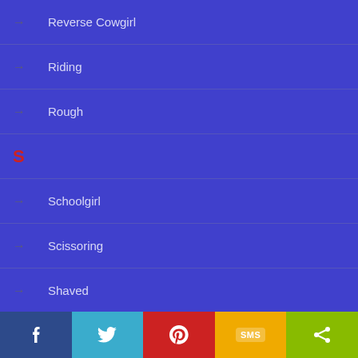Reverse Cowgirl
Riding
Rough
S
Schoolgirl
Scissoring
Shaved
Shaved Pussy
Shower